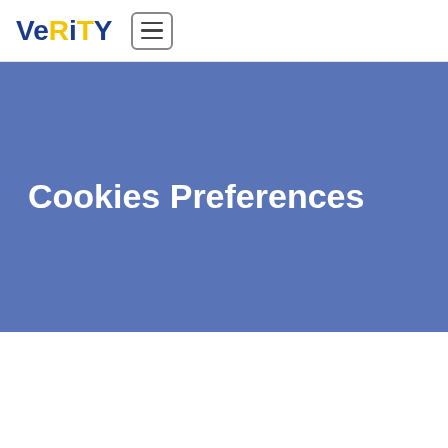VeRiTY [hamburger menu button]
Cookies Preferences